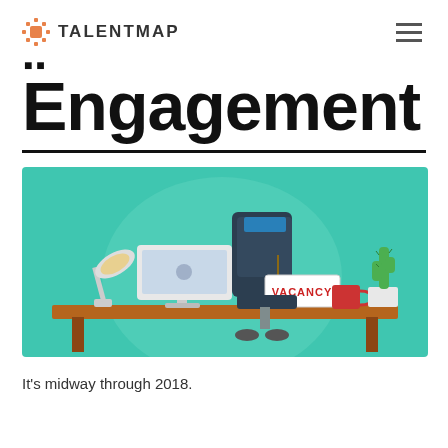TALENTMAP
Engagement
[Figure (illustration): Flat illustration of an office desk scene with teal background. A desk lamp, computer monitor, and an empty office chair with a hanging 'VACANCY' sign are visible. A red coffee mug and a cactus plant in a white pot sit on the wooden desk.]
It's midway through 2018.